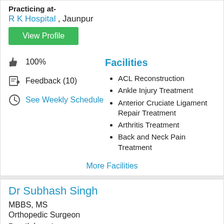Practicing at-
R K Hospital , Jaunpur
View Profile
100%
Feedback (10)
See Weekly Schedule
Facilities
ACL Reconstruction
Ankle Injury Treatment
Anterior Cruciate Ligament Repair Treatment
Arthritis Treatment
Back and Neck Pain Treatment
More Facilities
Dr Subhash Singh
MBBS, MS
Orthopedic Surgeon
Practicing at-
Parth hopital , Jaunpur
View Profile